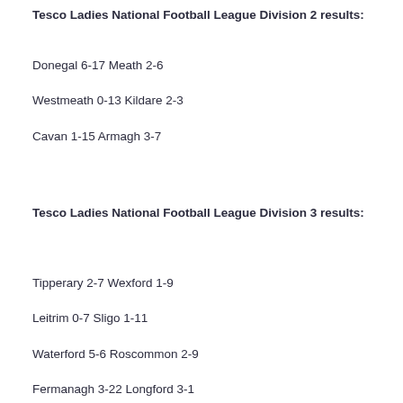Tesco Ladies National Football League Division 2 results:
Donegal 6-17 Meath 2-6
Westmeath 0-13 Kildare 2-3
Cavan 1-15 Armagh 3-7
Tesco Ladies National Football League Division 3 results:
Tipperary 2-7 Wexford 1-9
Leitrim 0-7 Sligo 1-11
Waterford 5-6 Roscommon 2-9
Fermanagh 3-22 Longford 3-1
Tesco Ladies National Football League Division 4 results: